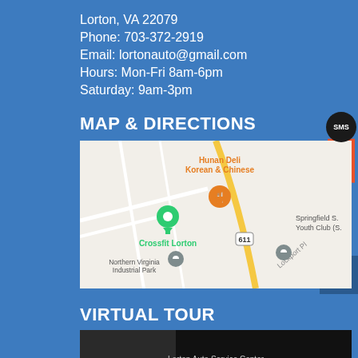Lorton, VA 22079
Phone:  703-372-2919
Email:  lortonauto@gmail.com
Hours: Mon-Fri 8am-6pm
Saturday: 9am-3pm
MAP & DIRECTIONS
[Figure (map): Google Maps screenshot showing Crossfit Lorton, Hunan Deli Korean & Chinese, Northern Virginia Industrial Park, Springfield area, and road 611 (Lockport Pl)]
VIRTUAL TOUR
[Figure (screenshot): Dark thumbnail image with text 'Lorton Auto Service Center' at the bottom]